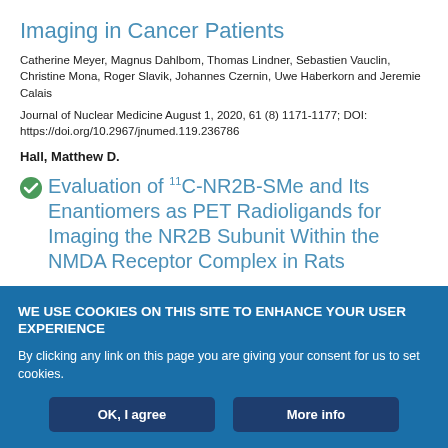Imaging in Cancer Patients
Catherine Meyer, Magnus Dahlbom, Thomas Lindner, Sebastien Vauclin, Christine Mona, Roger Slavik, Johannes Czernin, Uwe Haberkorn and Jeremie Calais
Journal of Nuclear Medicine August 1, 2020, 61 (8) 1171-1177; DOI: https://doi.org/10.2967/jnumed.119.236786
Hall, Matthew D.
Evaluation of 11C-NR2B-SMe and Its Enantiomers as PET Radioligands for Imaging the NR2B Subunit Within the NMDA Receptor Complex in Rats
WE USE COOKIES ON THIS SITE TO ENHANCE YOUR USER EXPERIENCE
By clicking any link on this page you are giving your consent for us to set cookies.